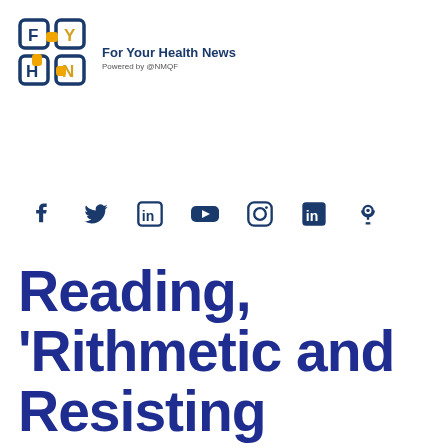For Your Health News
Powered by @NMQF
[Figure (logo): For Your Health News logo with F, Y, H, N letters in blue and orange puzzle-piece style squares]
[Figure (infographic): Social media icons: Facebook, Twitter, LinkedIn, YouTube, Instagram, LinkedIn, Podcast in dark blue]
Reading, 'Rithmetic and Resisting Covid: The New 3 R's of...